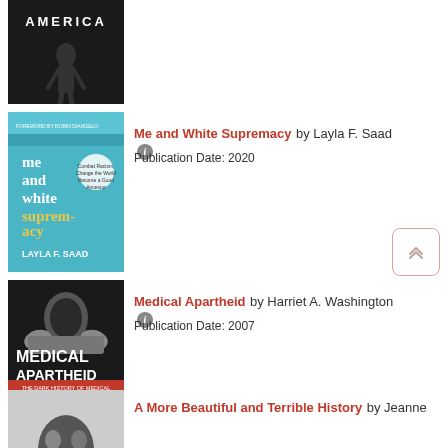[Figure (photo): Book cover of 'Me and White Supremacy' by Layla F. Saad — teal/blue background with handwritten-style white title text]
Me and White Supremacy by Layla F. Saad
Publication Date: 2020
[Figure (photo): Book cover of 'Medical Apartheid' by Harriet A. Washington — dark cover with bold title text and subtitle]
Medical Apartheid by Harriet A. Washington
Publication Date: 2007
[Figure (photo): Partial book cover of 'A More Beautiful and Terrible History' by Jeanne — black and white photo]
A More Beautiful and Terrible History by Jeanne